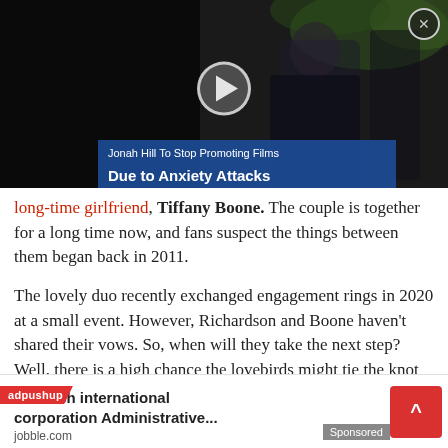[Figure (screenshot): Video thumbnail showing a person in a suit at what appears to be a red carpet event, with a play button overlay and a blue caption box reading 'Jonah Hill To Stop Promoting Films Due to Anxiety Attacks'. A close button is in the top right.]
long-time girlfriend, Tiffany Boone. The couple is together for a long time now, and fans suspect the things between them began back in 2011.
The lovely duo recently exchanged engagement rings in 2020 at a small event. However, Richardson and Boone haven't shared their vows. So, when will they take the next step? Well, there is a high chance the lovebirds might tie the knot after the pandemic situation gets normal.
Richardson and his fiancée Boone are never shy to s... oth...
[Figure (other): Ad bar at the bottom with adpushup tag, mantech international corporation Administrative... ad from jobble.com, Sponsored label, and a red up-arrow button.]